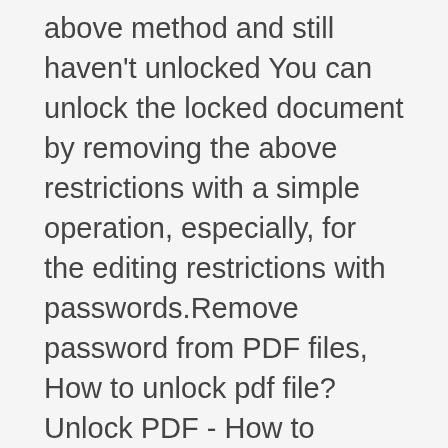above method and still haven't unlocked You can unlock the locked document by removing the above restrictions with a simple operation, especially, for the editing restrictions with passwords.Remove password from PDF files, How to unlock pdf file? Unlock PDF - How to Remove Password From PDF Files ? unlock pdf with one click ?.Bypass Activation Lock without password fast and easily. Remove various screen locks (4/6-digit passcode, Face ID, Touch ID) within 3 steps. FoneGeek iPhone Passcode Unlocker enables you to easily unlock screen passcode and remove the iCloud Activation Lock on iPhone/iPad/iPod touch. Unlock